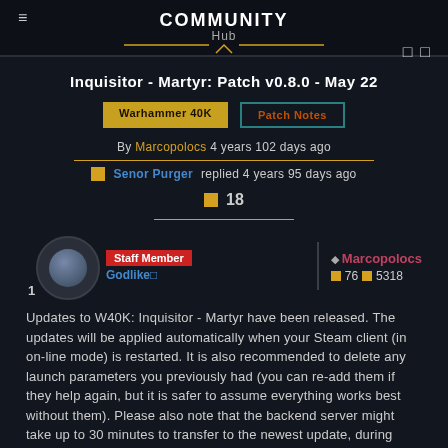COMMUNITY Hub
Inquisitor - Martyr: Patch v0.8.0 - May 22
Warhammer 40K
Patch Notes
By Marcopolocs 4 years 102 days ago
Senor Purger replied 4 years 95 days ago
18
Staff Member Godlike | Marcopolocs ◆76 □5318
Updates to W40K: Inquisitor - Martyr have been released. The updates will be applied automatically when your Steam client (in on-line mode) is restarted. It is also recommended to delete any launch parameters you previously had (you can re-add them if they help again, but it is safer to assume everything works best without them). Please also note that the backend server might take up to 30 minutes to transfer to the newest update, during which time